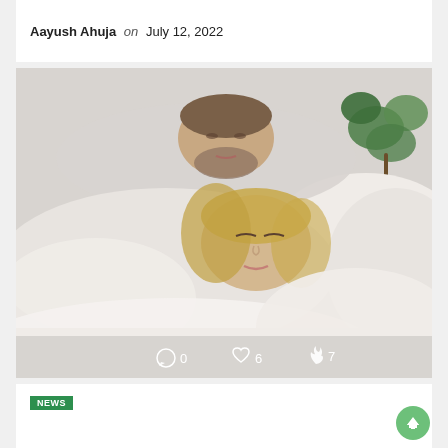Aayush Ahuja on July 12, 2022
[Figure (photo): A couple sleeping together on white pillows; man behind woman, both with eyes closed, white bedding, green plant visible in background. Social interaction stats overlaid at bottom: 0 comments, 6 likes, 7 fire reactions.]
NEWS (badge, partially visible)